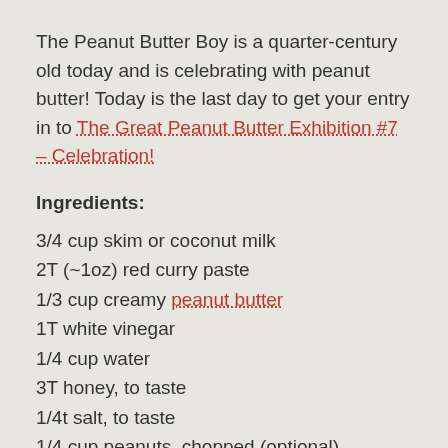The Peanut Butter Boy is a quarter-century old today and is celebrating with peanut butter! Today is the last day to get your entry in to The Great Peanut Butter Exhibition #7 – Celebration!
Ingredients:
3/4 cup skim or coconut milk
2T (~1oz) red curry paste
1/3 cup creamy peanut butter
1T white vinegar
1/4 cup water
3T honey, to taste
1/4t salt, to taste
1/4 cup peanuts, chopped (optional)
Directions: